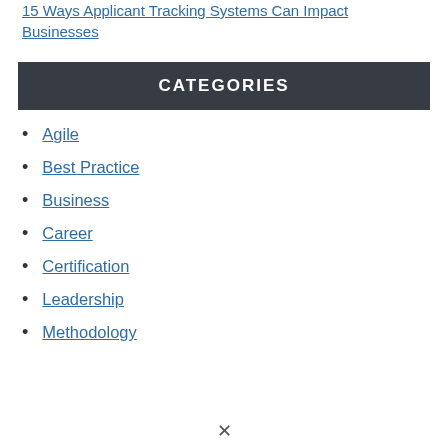15 Ways Applicant Tracking Systems Can Impact Businesses
CATEGORIES
Agile
Best Practice
Business
Career
Certification
Leadership
Methodology